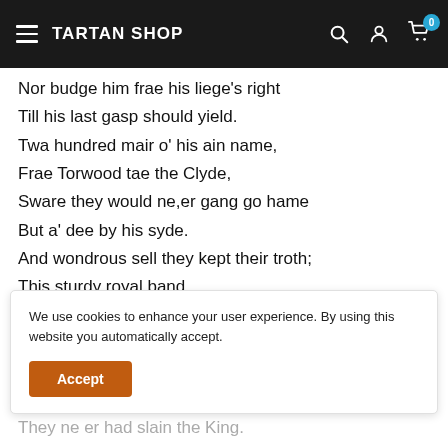TARTAN SHOP
Nor budge him frae his liege's right
Till his last gasp should yield.
Twa hundred mair o' his ain name,
Frae Torwood tae the Clyde,
Sware they would ne,er gang go hame
But a' dee by his syde.
And wondrous sell they kept their troth;
This sturdy royal band
Rush'd doon the brae wi'sic a pith
That nane could them withstand
We use cookies to enhance your user experience. By using this website you automatically accept.
Accept
They ne er had slain the King.